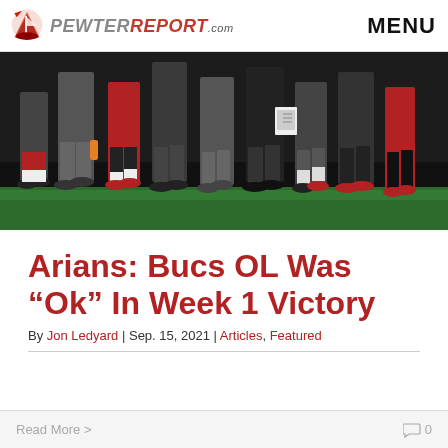PewterReport.com | MENU
[Figure (photo): Legs and feet of football players and coaches on sideline, wearing red and dark uniforms with cleats on a green field]
Arians: Bucs OL Was “Ok” In Week 1 Victory
By Jon Ledyard | Sep. 15, 2021 | Articles, Featured
Read More > 0